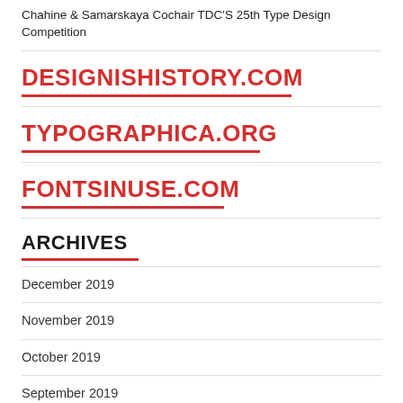Chahine & Samarskaya Cochair TDC'S 25th Type Design Competition
DESIGNISHISTORY.COM
TYPOGRAPHICA.ORG
FONTSINUSE.COM
ARCHIVES
December 2019
November 2019
October 2019
September 2019